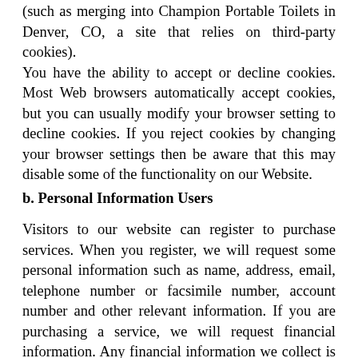(such as merging into Champion Portable Toilets in Denver, CO, a site that relies on third-party cookies). You have the ability to accept or decline cookies. Most Web browsers automatically accept cookies, but you can usually modify your browser setting to decline cookies. If you reject cookies by changing your browser settings then be aware that this may disable some of the functionality on our Website.
b. Personal Information Users
Visitors to our website can register to purchase services. When you register, we will request some personal information such as name, address, email, telephone number or facsimile number, account number and other relevant information. If you are purchasing a service, we will request financial information. Any financial information we collect is used only to bill you for the services you purchased. If you purchase by credit card, this information may be forwarded to your credit card provider. For other types of registrations, we will ask for the relevant information. You may also be